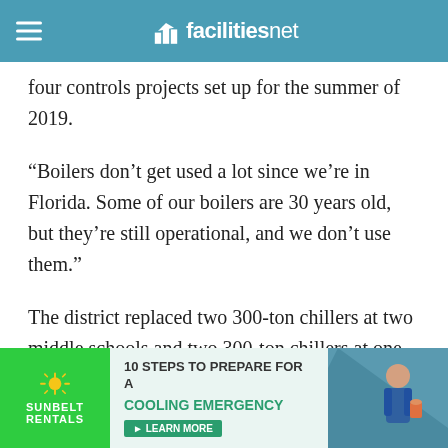facilitiesnet
completed seven chiller projects and four controls projects. We have another four chiller projects and four controls projects set up for the summer of 2019.
“Boilers don’t get used a lot since we’re in Florida. Some of our boilers are 30 years old, but they’re still operational, and we don’t use them.”
The district replaced two 300-ton chillers at two middle schools and two 300-ton chillers at one of its high schools. Why those projects?
[Figure (infographic): Sunbelt Rentals advertisement: '10 Steps to Prepare for a Cooling Emergency - Learn More' with green background and photo of worker]